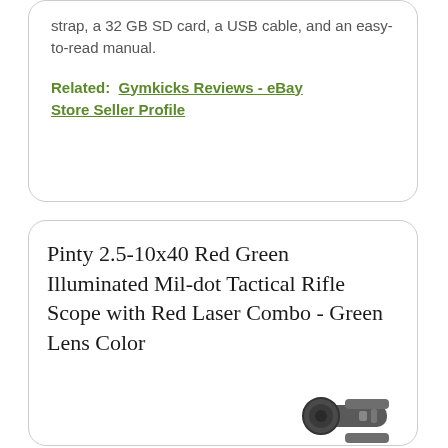strap, a 32 GB SD card, a USB cable, and an easy-to-read manual.
Related:  Gymkicks Reviews - eBay Store Seller Profile
Pinty 2.5-10x40 Red Green Illuminated Mil-dot Tactical Rifle Scope with Red Laser Combo - Green Lens Color
[Figure (photo): Partial image of a rifle scope product, visible at the bottom right of the lower card]